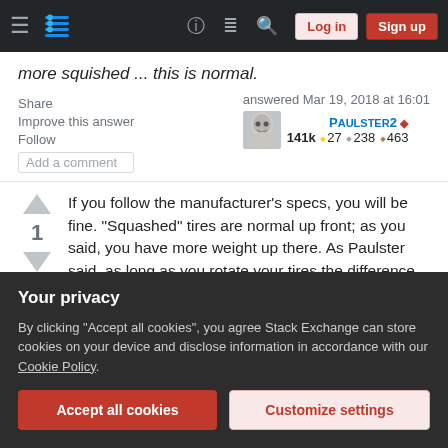Stack Exchange navigation bar with hamburger menu, logo, help, chat, search, Log in, Sign up
more squished ... this is normal.
Share   Improve this answer   Follow   Add a comment
answered Mar 19, 2018 at 16:01  PAULSTER2 ♦  141k  27  238  463
If you follow the manufacturer's specs, you will be fine. "Squashed" tires are normal up front; as you said, you have more weight up there. As Paulster said, as long as you rotate your tires the difference
Your privacy
By clicking "Accept all cookies", you agree Stack Exchange can store cookies on your device and disclose information in accordance with our Cookie Policy.
Accept all cookies   Customize settings
criteria to meet when they produce a car and the tire